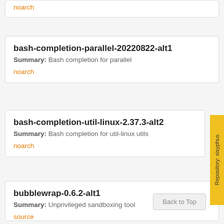noarch
bash-completion-parallel-20220822-alt1
Summary: Bash completion for parallel
noarch
bash-completion-util-linux-2.37.3-alt2
Summary: Bash completion for util-linux utils
noarch
bubblewrap-0.6.2-alt1
Summary: Unprivileged sandboxing tool
source
Repository: sisyphus
Back to Top